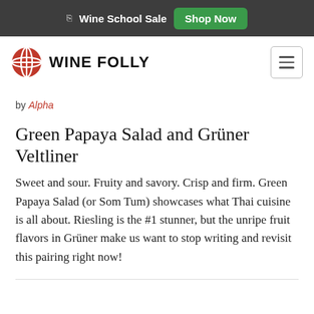Wine School Sale  Shop Now
[Figure (logo): Wine Folly logo with red globe icon and bold text WINE FOLLY, plus hamburger menu button on the right]
by Alpha
Green Papaya Salad and Grüner Veltliner
Sweet and sour. Fruity and savory. Crisp and firm. Green Papaya Salad (or Som Tum) showcases what Thai cuisine is all about. Riesling is the #1 stunner, but the unripe fruit flavors in Grüner make us want to stop writing and revisit this pairing right now!